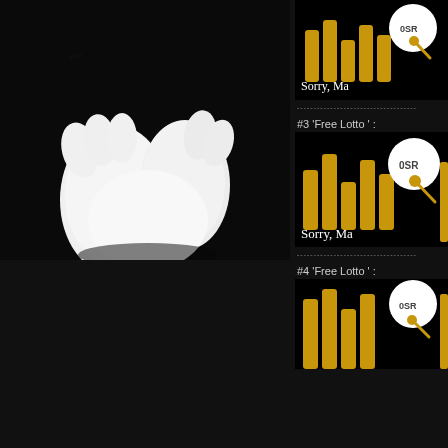[Figure (photo): White 3D cartoon character figure (hands/body) on dark background, with 'Ice' text visible on top]
[Figure (screenshot): Thumbnail image with yellow bar chart elements and 'OSR' badge, text reads 'Sorry, Ma']
------------------------------------
#3 'Free Lotto ' :
[Figure (screenshot): Thumbnail image with yellow bar chart elements and 'OSR' badge, text reads 'Sorry, Ma']
------------------------------------
#4 'Free Lotto ' :
[Figure (screenshot): Thumbnail image with yellow bar chart elements and 'OSR' badge (partial, cropped at bottom)]